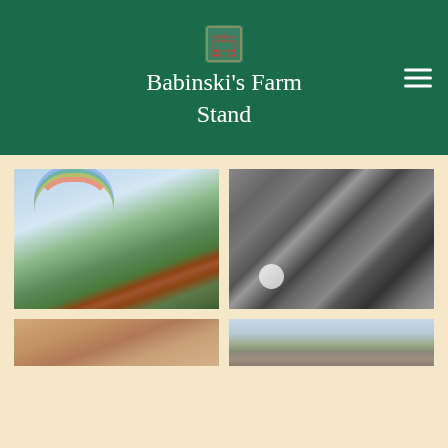Babinski's Farm Stand
[Figure (photo): Farm scene with rainbow and red barn in background, green fields in foreground]
[Figure (photo): Black and white photo of produce or farm items]
[Figure (photo): Warm-toned outdoor photo, partially visible at bottom]
[Figure (photo): Outdoor photo with person or landscape, partially visible at bottom]